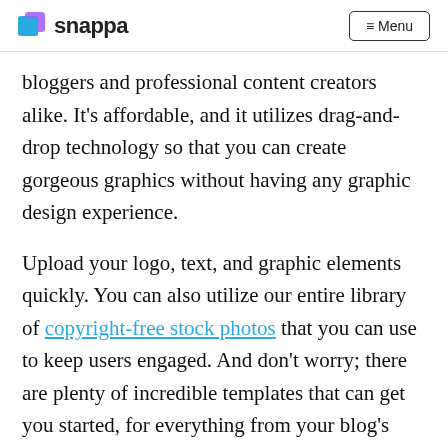snappa  ≡ Menu
bloggers and professional content creators alike. It's affordable, and it utilizes drag-and-drop technology so that you can create gorgeous graphics without having any graphic design experience.
Upload your logo, text, and graphic elements quickly. You can also utilize our entire library of copyright-free stock photos that you can use to keep users engaged. And don't worry; there are plenty of incredible templates that can get you started, for everything from your blog's